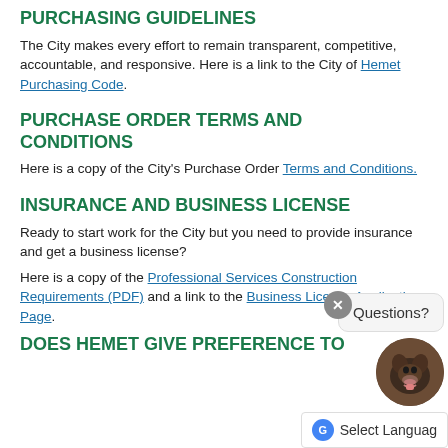PURCHASING GUIDELINES
The City makes every effort to remain transparent, competitive, accountable, and responsive. Here is a link to the City of Hemet Purchasing Code.
PURCHASE ORDER TERMS AND CONDITIONS
Here is a copy of the City's Purchase Order Terms and Conditions.
INSURANCE AND BUSINESS LICENSE
Ready to start work for the City but you need to provide insurance and get a business license?
Here is a copy of the Professional Services Construction Requirements (PDF) and a link to the Business License Application Page.
DOES HEMET GIVE PREFERENCE TO